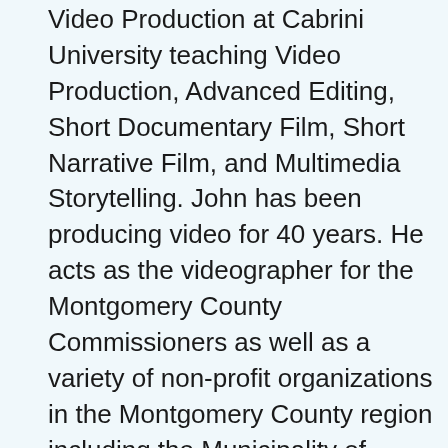Video Production at Cabrini University teaching Video Production, Advanced Editing, Short Documentary Film, Short Narrative Film, and Multimedia Storytelling. John has been producing video for 40 years. He acts as the videographer for the Montgomery County Commissioners as well as a variety of non-profit organizations in the Montgomery County region including the Municipality of Norristown and the NAACP. He has been the producer of The Hank Cisco Show, a regional cable program for 19 years. John has taught at Delaware County Community College, Wilma Theatre, and Drexel